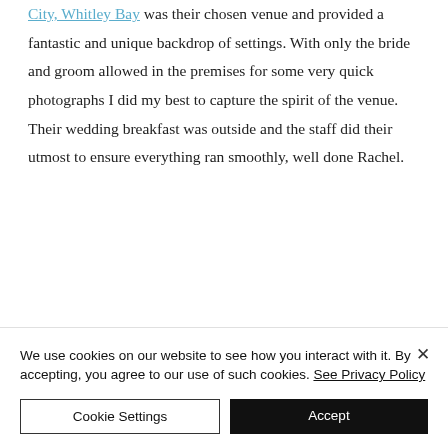City, Whitley Bay was their chosen venue and provided a fantastic and unique backdrop of settings. With only the bride and groom allowed in the premises for some very quick photographs I did my best to capture the spirit of the venue. Their wedding breakfast was outside and the staff did their utmost to ensure everything ran smoothly, well done Rachel.
We use cookies on our website to see how you interact with it. By accepting, you agree to our use of such cookies. See Privacy Policy